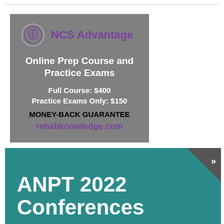[Figure (infographic): NCS Advantage advertisement box on gray background with brain logo, purple title, white text for Online Prep Course and Practice Exams, pricing details (Full Course: $400, Practice Exams Only: $150), money-back guarantee text, and rehabknowledge.com URL in purple]
[Figure (infographic): ANPT 2022 Conferences banner with teal background, dark triangular corner decoration with double chevron, and large white bold text reading ANPT 2022 Conferences]